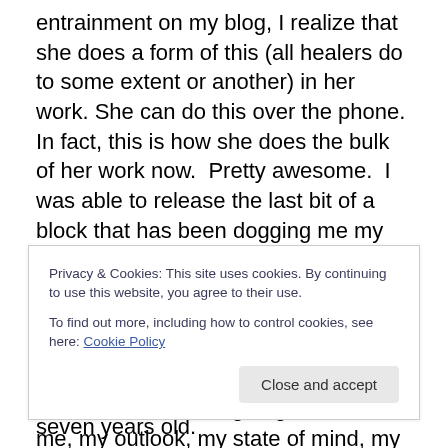entrainment on my blog, I realize that she does a form of this (all healers do to some extent or another) in her work. She can do this over the phone.  In fact, this is how she does the bulk of her work now.  Pretty awesome.  I was able to release the last bit of a block that has been dogging me my whole process of awakening since 2007 with her help.  It was THE hardest most stubborn block ever and she swooped in and cleared it out. What a huuuge relief!  The results of that release is having huge effects on me, my outlook, my state of mind, my heart, and the level of joy and contentment that I can now feel.  I
Privacy & Cookies: This site uses cookies. By continuing to use this website, you agree to their use.
To find out more, including how to control cookies, see here: Cookie Policy
or another on this blog which is now seven years old.